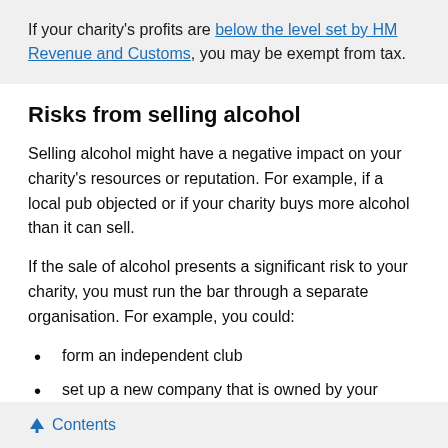If your charity's profits are below the level set by HM Revenue and Customs, you may be exempt from tax.
Risks from selling alcohol
Selling alcohol might have a negative impact on your charity's resources or reputation. For example, if a local pub objected or if your charity buys more alcohol than it can sell.
If the sale of alcohol presents a significant risk to your charity, you must run the bar through a separate organisation. For example, you could:
form an independent club
set up a new company that is owned by your charity
get an existing company to run the bar for you
The relationship between the charity and the separate
↑ Contents